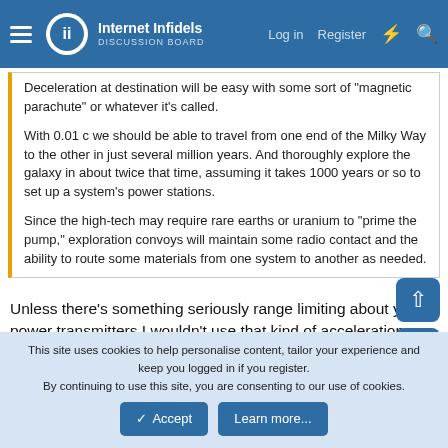Internet Infidels — Log in | Register
Deceleration at destination will be easy with some sort of "magnetic parachute" or whatever it's called.

With 0.01 c we should be able to travel from one end of the Milky Way to the other in just several million years. And thoroughly explore the galaxy in about twice that time, assuming it takes 1000 years or so to set up a system's power stations.

Since the high-tech may require rare earths or uranium to "prime the pump," exploration convoys will maintain some radio contact and the ability to route some materials from one system to another as needed.
Unless there's something seriously range limiting about your power transmitters I wouldn't use that kind of acceleration--that's an awful lot of power to handle.
This site uses cookies to help personalise content, tailor your experience and keep you logged in if you register.
By continuing to use this site, you are consenting to our use of cookies.